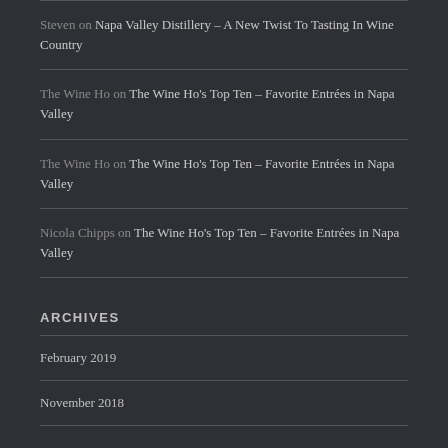Steven on Napa Valley Distillery – A New Twist To Tasting In Wine Country
The Wine Ho on The Wine Ho's Top Ten – Favorite Entrées in Napa Valley
The Wine Ho on The Wine Ho's Top Ten – Favorite Entrées in Napa Valley
Nicola Chipps on The Wine Ho's Top Ten – Favorite Entrées in Napa Valley
ARCHIVES
February 2019
November 2018